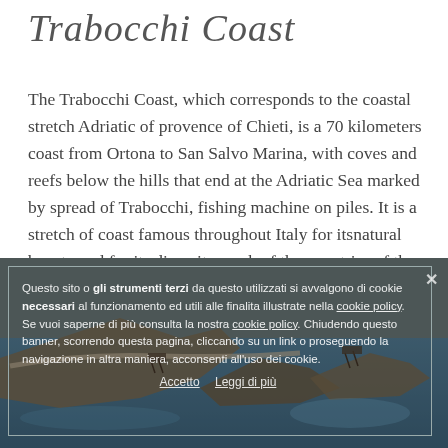Trabocchi Coast
The Trabocchi Coast, which corresponds to the coastal stretch Adriatic of provence of Chieti, is a 70 kilometers coast from Ortona to San Salvo Marina, with coves and reefs below the hills that end at the Adriatic Sea marked by spread of Trabocchi, fishing machine on piles. It is a stretch of coast famous throughout Italy for itsnatural beauty and for its diversity; each of the countries of the Coast maintains its own characteristics and traditions
[Figure (photo): Aerial/elevated photograph of the Trabocchi Coast showing rocky coastline, promontories, blue Adriatic Sea, and coastal road. A cookie consent overlay banner is displayed over the image with Italian text.]